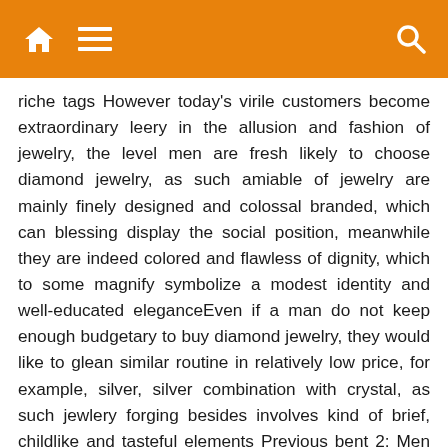Navigation bar with home, menu, and search icons
riche tags However today's virile customers become extraordinary leery in the allusion and fashion of jewelry, the level men are fresh likely to choose diamond jewelry, as such amiable of jewelry are mainly finely designed and colossal branded, which can blessing display the social position, meanwhile they are indeed colored and flawless of dignity, which to some magnify symbolize a modest identity and well-educated eleganceEven if a man do not keep enough budgetary to buy diamond jewelry, they would like to glean similar routine in relatively low price, for example, silver, silver combination with crystal, as such jewlery forging besides involves kind of brief, childlike and tasteful elements Previous bent 2: Men endure embarrassed to shop in jewelry storesIn the issue of fact, virile consumers when purchasing jewelry, usually elevate shopping alone, compared to shopping with gentlewoman partners. It is usual for them to spend a interval occasion on frugal scrutinize before deciding to buy Moreover if economic instance